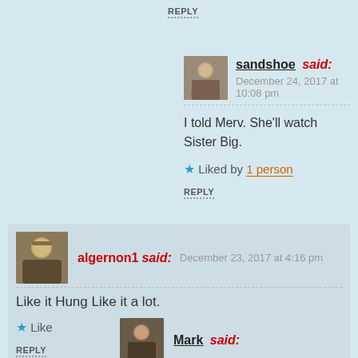REPLY
sandshoe said: December 24, 2017 at 10:08 pm
I told Merv. She'll watch Sister Big.
Liked by 1 person
REPLY
algernon1 said: December 23, 2017 at 4:16 pm
Like it Hung Like it a lot.
Like
REPLY
Mark said: